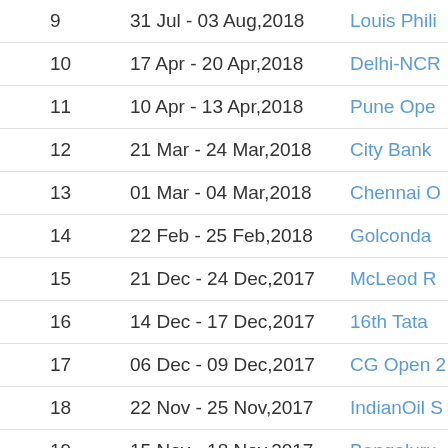| # | Date | Tournament |
| --- | --- | --- |
| 9 | 31 Jul - 03 Aug,2018 | Louis Phili… |
| 10 | 17 Apr - 20 Apr,2018 | Delhi-NCR… |
| 11 | 10 Apr - 13 Apr,2018 | Pune Ope… |
| 12 | 21 Mar - 24 Mar,2018 | City Bank… |
| 13 | 01 Mar - 04 Mar,2018 | Chennai O… |
| 14 | 22 Feb - 25 Feb,2018 | Golconda… |
| 15 | 21 Dec - 24 Dec,2017 | McLeod R… |
| 16 | 14 Dec - 17 Dec,2017 | 16th Tata… |
| 17 | 06 Dec - 09 Dec,2017 | CG Open 2… |
| 18 | 22 Nov - 25 Nov,2017 | IndianOil S… |
| 19 | 15 Nov - 18 Nov,2017 | Bengaluru… |